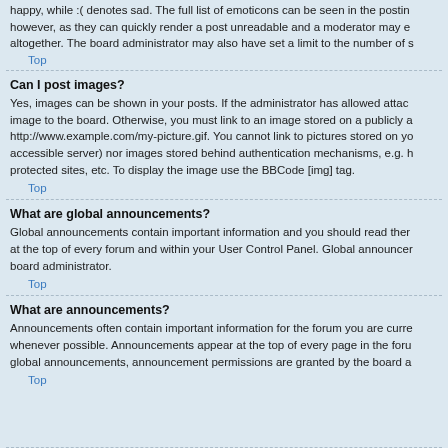happy, while :( denotes sad. The full list of emoticons can be seen in the posting however, as they can quickly render a post unreadable and a moderator may e altogether. The board administrator may also have set a limit to the number of s
Top
Can I post images?
Yes, images can be shown in your posts. If the administrator has allowed attac image to the board. Otherwise, you must link to an image stored on a publicly a http://www.example.com/my-picture.gif. You cannot link to pictures stored on yo accessible server) nor images stored behind authentication mechanisms, e.g. h protected sites, etc. To display the image use the BBCode [img] tag.
Top
What are global announcements?
Global announcements contain important information and you should read them at the top of every forum and within your User Control Panel. Global announcer board administrator.
Top
What are announcements?
Announcements often contain important information for the forum you are curre whenever possible. Announcements appear at the top of every page in the foru global announcements, announcement permissions are granted by the board a
Top